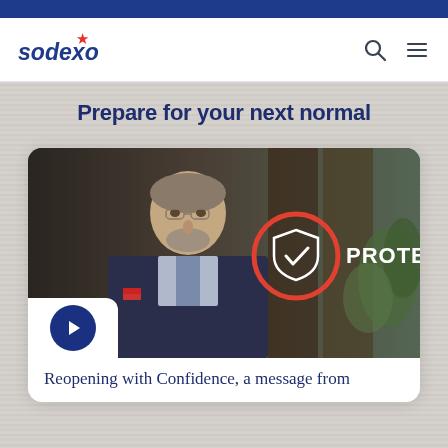Sodexo
Prepare for your next normal
[Figure (screenshot): Video thumbnail showing a man in a suit speaking, with a red circle icon containing a shield/checkmark and the text PROTECT overlaid on the right side of the image. A blue play button is visible in the lower left of the card.]
Reopening with Confidence, a message from